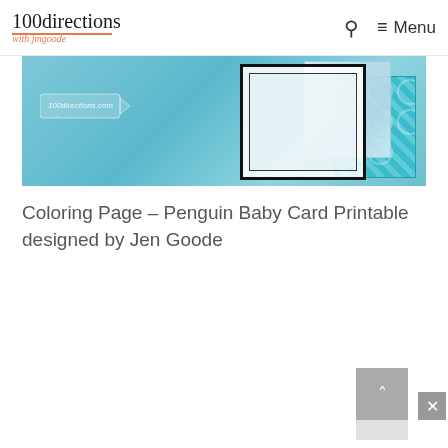100directions with Jen Goode — Menu
[Figure (photo): Craft card supplies on a teal/aqua background, showing layered cards with a black-bordered white card, glitter card, teal patterned card, and a small arrow sign reading 100directions.com]
Coloring Page – Penguin Baby Card Printable designed by Jen Goode